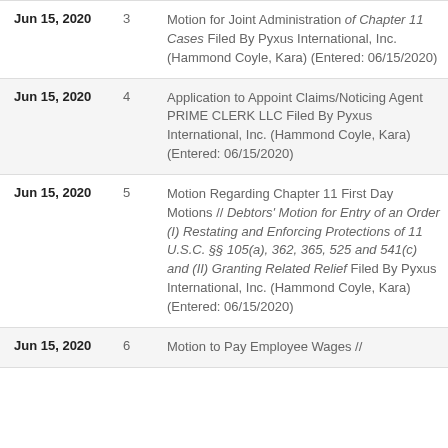| Date | No. | Description |
| --- | --- | --- |
| Jun 15, 2020 | 3 | Motion for Joint Administration of Chapter 11 Cases Filed By Pyxus International, Inc. (Hammond Coyle, Kara) (Entered: 06/15/2020) |
| Jun 15, 2020 | 4 | Application to Appoint Claims/Noticing Agent PRIME CLERK LLC Filed By Pyxus International, Inc. (Hammond Coyle, Kara) (Entered: 06/15/2020) |
| Jun 15, 2020 | 5 | Motion Regarding Chapter 11 First Day Motions // Debtors' Motion for Entry of an Order (I) Restating and Enforcing Protections of 11 U.S.C. §§ 105(a), 362, 365, 525 and 541(c) and (II) Granting Related Relief Filed By Pyxus International, Inc. (Hammond Coyle, Kara) (Entered: 06/15/2020) |
| Jun 15, 2020 | 6 | Motion to Pay Employee Wages // |